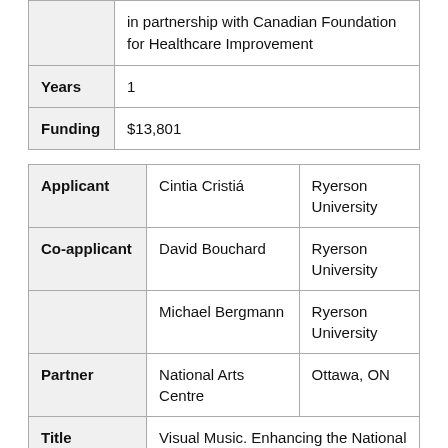| [truncated — continued from above] ...in partnership with Canadian Foundation for Healthcare Improvement |  |
| Years | 1 |
| Funding | $13,801 |
| Applicant | Cintia Cristiá | Ryerson University |
| Co-applicant | David Bouchard | Ryerson University |
|  | Michael Bergmann | Ryerson University |
| Partner | National Arts Centre | Ottawa, ON |
| Title | Visual Music. Enhancing the National Arts Centre Orchestra's remote connection with |  |